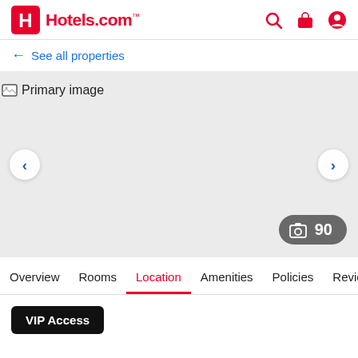Hotels.com
← See all properties
[Figure (photo): Primary hotel image placeholder with navigation arrows and photo count badge showing 90 photos]
Overview  Rooms  Location  Amenities  Policies  Reviews
VIP Access